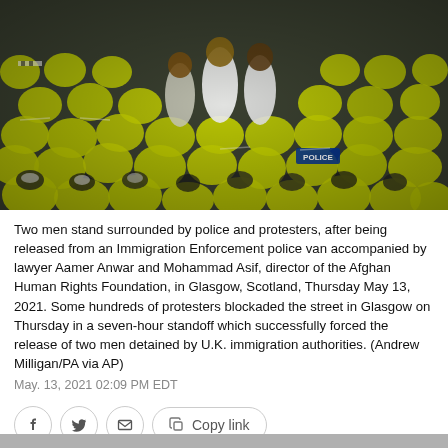[Figure (photo): Aerial view of a large crowd of police officers in hi-vis yellow jackets and black uniforms with checkered hat bands, many wearing face masks, surrounding several civilians including men in white and grey clothing, at a protest in Glasgow.]
Two men stand surrounded by police and protesters, after being released from an Immigration Enforcement police van accompanied by lawyer Aamer Anwar and Mohammad Asif, director of the Afghan Human Rights Foundation, in Glasgow, Scotland, Thursday May 13, 2021. Some hundreds of protesters blockaded the street in Glasgow on Thursday in a seven-hour standoff which successfully forced the release of two men detained by U.K. immigration authorities. (Andrew Milligan/PA via AP)
May. 13, 2021 02:09 PM EDT